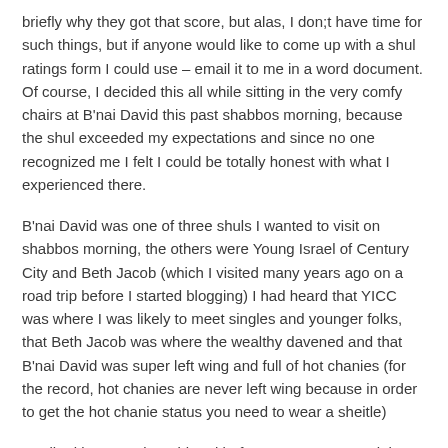briefly why they got that score, but alas, I don;t have time for such things, but if anyone would like to come up with a shul ratings form I could use – email it to me in a word document. Of course, I decided this all while sitting in the very comfy chairs at B'nai David this past shabbos morning, because the shul exceeded my expectations and since no one recognized me I felt I could be totally honest with what I experienced there.
B'nai David was one of three shuls I wanted to visit on shabbos morning, the others were Young Israel of Century City and Beth Jacob (which I visited many years ago on a road trip before I started blogging) I had heard that YICC was where I was likely to meet singles and younger folks, that Beth Jacob was where the wealthy davened and that B'nai David was super left wing and full of hot chanies (for the record, hot chanies are never left wing because in order to get the hot chanie status you need to wear a sheitle)
I walked in to B'nai David and before we even entered the